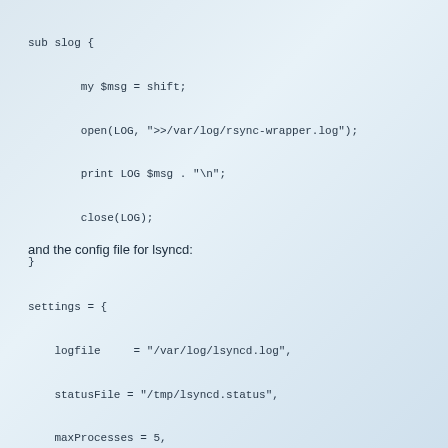sub slog {

        my $msg = shift;

        open(LOG, ">>/var/log/rsync-wrapper.log");

        print LOG $msg . "\n";

        close(LOG);

}
and the config file for lsyncd:
settings = {

    logfile     = "/var/log/lsyncd.log",

    statusFile = "/tmp/lsyncd.status",

    maxProcesses = 5,